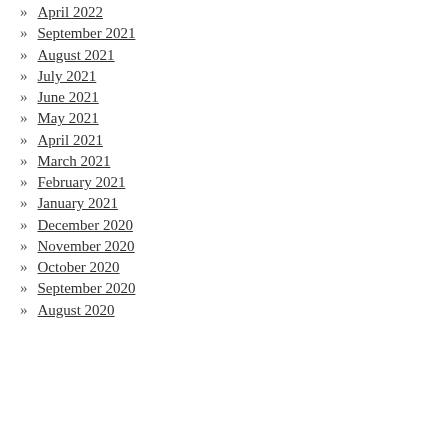April 2022
September 2021
August 2021
July 2021
June 2021
May 2021
April 2021
March 2021
February 2021
January 2021
December 2020
November 2020
October 2020
September 2020
August 2020